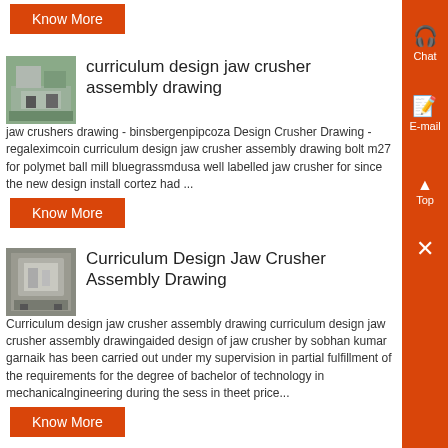[Figure (other): Orange Know More button at top of page]
[Figure (photo): Thumbnail photo of jaw crusher machinery, industrial setting]
curriculum design jaw crusher assembly drawing
jaw crushers drawing - binsbergenpipcoza Design Crusher Drawing - regaleximcoin curriculum design jaw crusher assembly drawing bolt m27 for polymet ball mill bluegrassmdusa well labelled jaw crusher for since the new design install cortez had ...
[Figure (other): Orange Know More button]
[Figure (photo): Thumbnail photo of industrial crusher equipment in building]
Curriculum Design Jaw Crusher Assembly Drawing
Curriculum design jaw crusher assembly drawing curriculum design jaw crusher assembly drawingaided design of jaw crusher by sobhan kumar garnaik has been carried out under my supervision in partial fulfillment of the requirements for the degree of bachelor of technology in mechanicalngineering during the sess in theet price...
[Figure (other): Orange Know More button]
[Figure (photo): Thumbnail photo of jaw crusher inside assembly, partially visible at bottom]
jaw crusher inside the assembly